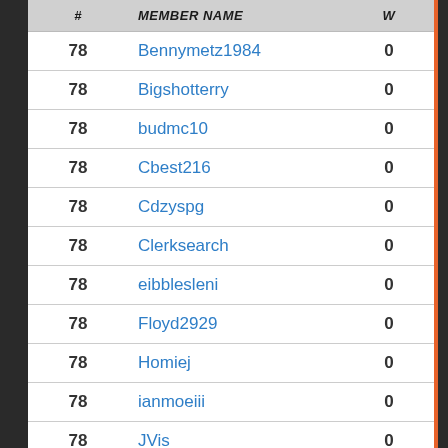| # | MEMBER NAME | W |
| --- | --- | --- |
| 78 | Bennymetz1984 | 0 |
| 78 | Bigshotterry | 0 |
| 78 | budmc10 | 0 |
| 78 | Cbest216 | 0 |
| 78 | Cdzyspg | 0 |
| 78 | Clerksearch | 0 |
| 78 | eibblesleni | 0 |
| 78 | Floyd2929 | 0 |
| 78 | Homiej | 0 |
| 78 | ianmoeiii | 0 |
| 78 | JVis | 0 |
| 78 | lrkelain | 0 |
| 78 | luckyseven77 | 0 |
| 78 | Mjacobs | 0 |